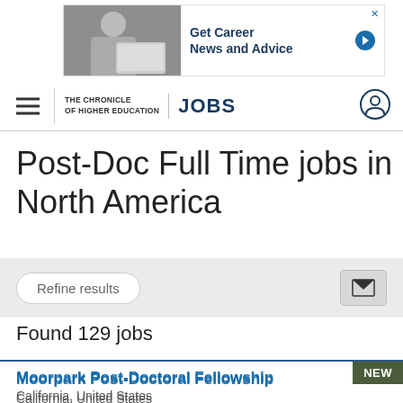[Figure (screenshot): Advertisement banner: woman working at laptop with text 'Get Career News and Advice' and arrow button]
THE CHRONICLE OF HIGHER EDUCATION | JOBS
Post-Doc Full Time jobs in North America
Refine results
Found 129 jobs
NEW
Moorpark Post-Doctoral Fellowship
California, United States